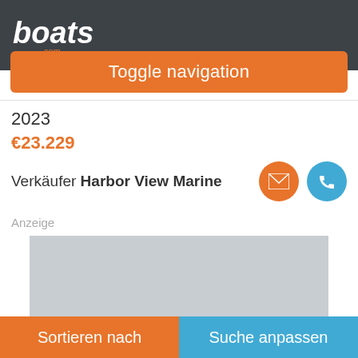boats.com
Toggle navigation
2023
€23.229
Verkäufer Harbor View Marine
Anzeige
[Figure (other): Gray placeholder rectangle for advertisement]
Sortieren nach
Suche anpassen